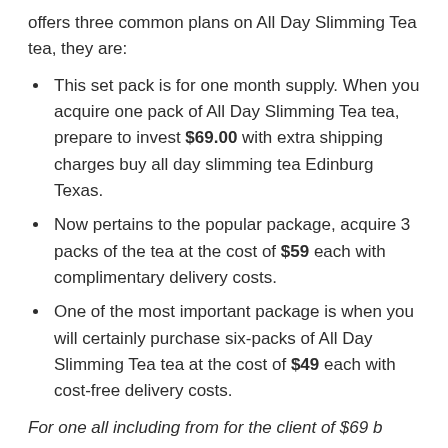offers three common plans on All Day Slimming Tea tea, they are:
This set pack is for one month supply. When you acquire one pack of All Day Slimming Tea tea, prepare to invest $69.00 with extra shipping charges buy all day slimming tea Edinburg Texas.
Now pertains to the popular package, acquire 3 packs of the tea at the cost of $59 each with complimentary delivery costs.
One of the most important package is when you will certainly purchase six-packs of All Day Slimming Tea tea at the cost of $49 each with cost-free delivery costs.
For one all including from for the client of $69 b...